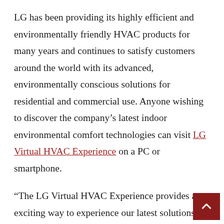LG has been providing its highly efficient and environmentally friendly HVAC products for many years and continues to satisfy customers around the world with its advanced, environmentally conscious solutions for residential and commercial use. Anyone wishing to discover the company's latest indoor environmental comfort technologies can visit LG Virtual HVAC Experience on a PC or smartphone.
“The LG Virtual HVAC Experience provides an exciting way to experience our latest solutions, whenever and wherever you want,” said James Lee, head of the Air Solution Business Unit at LG Electronics Home Appliance & Air Solution Company. “We will contin to work tirelessly to create HVAC products that not only